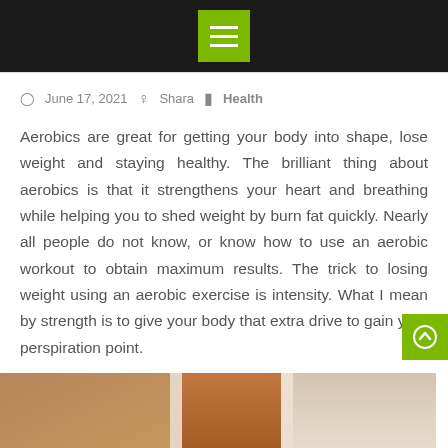Menu navigation header bar
June 17, 2021  Shara  Health
Aerobics are great for getting your body into shape, lose weight and staying healthy. The brilliant thing about aerobics is that it strengthens your heart and breathing while helping you to shed weight by burn fat quickly. Nearly all people do not know, or know how to use an aerobic workout to obtain maximum results. The trick to losing weight using an aerobic exercise is intensity. What I mean by strength is to give your body that extra drive to gain your perspiration point.
[Figure (photo): Photo strip showing legs/feet of a person doing aerobics exercise, partial view at bottom of page]